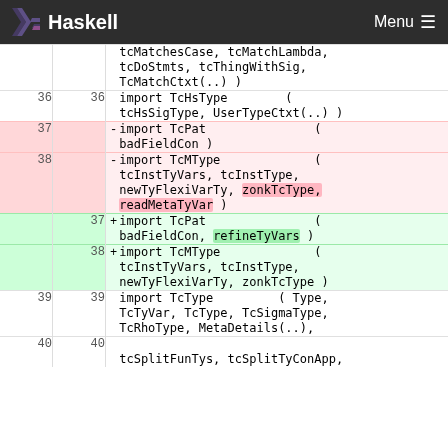Haskell | Menu
Diff view of Haskell source code changes, lines 36-40, showing import statement modifications including removal of readMetaTyVar and addition of refineTyVars
| old | new | code |
| --- | --- | --- |
|  |  | tcMatchesCase, tcMatchLambda, |
|  |  | tcDoStmts, tcThingWithSig, |
|  |  | TcMatchCtxt(..) ) |
| 36 | 36 | import TcHsType         ( |
|  |  | tcHsSigType, UserTypeCtxt(..) ) |
| 37 |  | - import TcPat               ( |
|  |  |   badFieldCon ) |
| 38 |  | - import TcMType             ( |
|  |  |   tcInstTyVars, tcInstType, |
|  |  |   newTyFlexiVarTy, zonkTcType, readMetaTyVar ) |
|  | 37 | + import TcPat               ( |
|  |  |   badFieldCon, refineTyVars ) |
|  | 38 | + import TcMType             ( |
|  |  |   tcInstTyVars, tcInstType, |
|  |  |   newTyFlexiVarTy, zonkTcType ) |
| 39 | 39 | import TcType         ( Type, |
|  |  | TcTyVar, TcType, TcSigmaType, |
|  |  | TcRhoType, MetaDetails(..), |
| 40 | 40 |  |
|  |  | tcSplitFunTys, tcSplitTyConApp, |